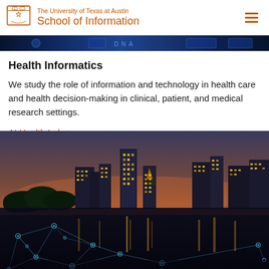The University of Texas at Austin School of Information
[Figure (photo): Dark blue DNA/technology themed banner strip]
Health Informatics
We study the role of information and technology in health care and health decision-making in clinical, patient, and medical research settings.
AI Health Lab >
[Figure (photo): Night cityscape of Austin Texas skyline reflected in water with digital network overlay lines and nodes]